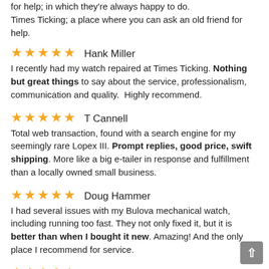for help; in which they're always happy to do.
Times Ticking; a place where you can ask an old friend for help.
★★★★★ Hank Miller
I recently had my watch repaired at Times Ticking. Nothing but great things to say about the service, professionalism, communication and quality.  Highly recommend.
★★★★★ T Cannell
Total web transaction, found with a search engine for my seemingly rare Lopex III. Prompt replies, good price, swift shipping. More like a big e-tailer in response and fulfillment than a locally owned small business.
★★★★★ Doug Hammer
I had several issues with my Bulova mechanical watch, including running too fast. They not only fixed it, but it is better than when I bought it new. Amazing! And the only place I recommend for service.
★★★★★ Kent Bolin
Outstanding in every way.  TT exceeded all of my expectations…and my old watch is working like new